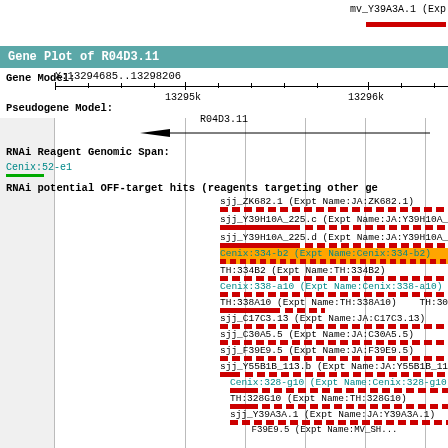mv_Y39A3A.1 (Exp
Gene Plot of R04D3.11
X:13294685..13298206
13295k   13296k
Gene Model:
Pseudogene Model:
R04D3.11
RNAi Reagent Genomic Span:
Cenix:52-e1
RNAi potential OFF-target hits (reagents targeting other ge
sjj_ZK682.1 (Expt Name:JA:ZK682.1)
sjj_Y39H10A_225.c (Expt Name:JA:Y39H10A_
sjj_Y39H10A_225.d (Expt Name:JA:Y39H10A_
Cenix:334-b2 (Expt Name:Cenix:334-b2)
TH:334B2 (Expt Name:TH:334B2)
Cenix:338-a10 (Expt Name:Cenix:338-a10)
TH:338A10 (Expt Name:TH:338A10)   TH:30
sjj_C17C3.13 (Expt Name:JA:C17C3.13)
sjj_C30A5.5 (Expt Name:JA:C30A5.5)
sjj_F39E9.5 (Expt Name:JA:F39E9.5)
sjj_Y55B1B_113.b (Expt Name:JA:Y55B1B_11
Cenix:328-g10 (Expt Name:Cenix:328-g10
TH:328G10 (Expt Name:TH:328G10)
sjj_Y39A3A.1 (Expt Name:JA:Y39A3A.1)
F39E9.5 (Expt Name:MV_SH...